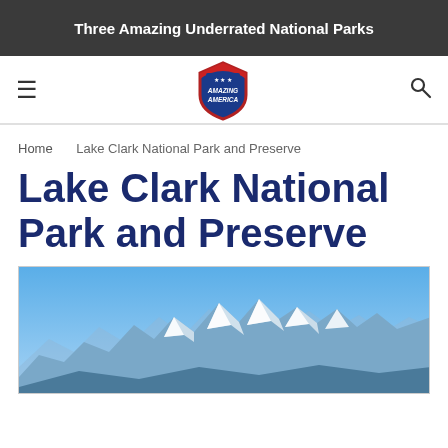Three Amazing Underrated National Parks
[Figure (logo): Amazing America shield logo in the navigation bar]
Home  Lake Clark National Park and Preserve
Lake Clark National Park and Preserve
[Figure (photo): Snow-capped mountain range under a bright blue sky, depicting scenery from Lake Clark National Park and Preserve]